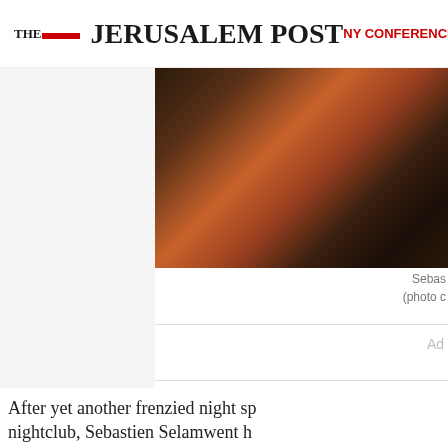THE JERUSALEM POST | NY CONFERENCE | ISRAEL
[Figure (photo): Dark nightclub scene photo showing a person with warm orange/red lighting, partially cropped]
Sebas
(photo c
Ad
[Figure (other): Video player with play button — Login to access this article now / Member Login / button]
After yet another frenzied night sp nightclub, Sebastien Selamwent h Fabien in the 19thdistrict, not far